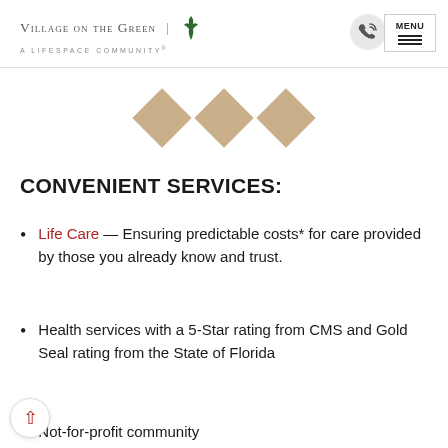Village on the Green | A Lifespace Community
[Figure (illustration): Three tan/beige diamond shapes as decorative dividers]
CONVENIENT SERVICES:
Life Care — Ensuring predictable costs* for care provided by those you already know and trust.
Health services with a 5-Star rating from CMS and Gold Seal rating from the State of Florida
Not-for-profit community